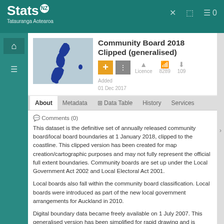Stats NZ Tatauranga Aotearoa
Community Board 2018 Clipped (generalised)
Added 01 Dec 2017  Licence  8289  109
About  Metadata  Data Table  History  Services
Comments (0)
This dataset is the definitive set of annually released community board/local board boundaries at 1 January 2018, clipped to the coastline. This clipped version has been created for map creation/cartographic purposes and may not fully represent the official full extent boundaries. Community boards are set up under the Local Government Act 2002 and Local Electoral Act 2001.
Local boards also fall within the community board classification. Local boards were introduced as part of the new local government arrangements for Auckland in 2010.
Digital boundary data became freely available on 1 July 2007. This generalised version has been simplified for rapid drawing and is designed for thematic or web mapping purposes.